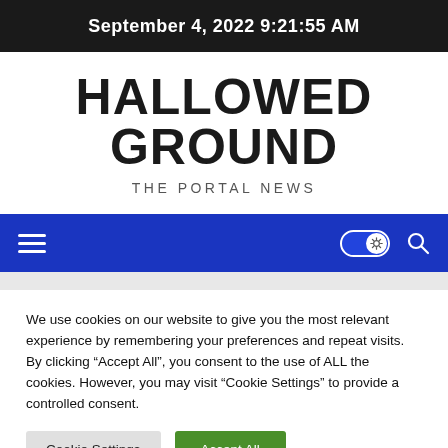September 4, 2022 9:21:55 AM
HALLOWED GROUND
THE PORTAL NEWS
[Figure (other): Navigation bar with hamburger menu icon, dark/light mode toggle switch, and search icon on blue background]
We use cookies on our website to give you the most relevant experience by remembering your preferences and repeat visits. By clicking “Accept All”, you consent to the use of ALL the cookies. However, you may visit “Cookie Settings” to provide a controlled consent.
Cookie Settings   Accept All